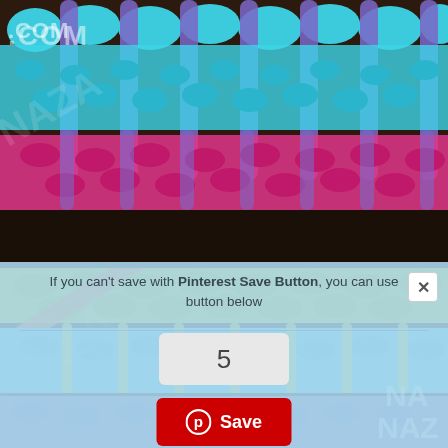[Figure (photo): Close-up photo of colorful crochet stitches with cyan/turquoise, pink, and purple yarn, with partial watermark text '.COM' visible in top left]
[Figure (screenshot): Pinterest save dialog overlay with light blue background. Text reads 'If you can't save with Pinterest Save Button, you can use button below'. Contains a count box showing '5', and a red Pinterest Save button. Has an X close button in top right corner.]
[Figure (photo): Close-up photo of colorful crochet stitches with yellow-green, cyan/turquoise, and purple yarn, with watermark 'NA' and 'NAZ' visible in bottom right corner]